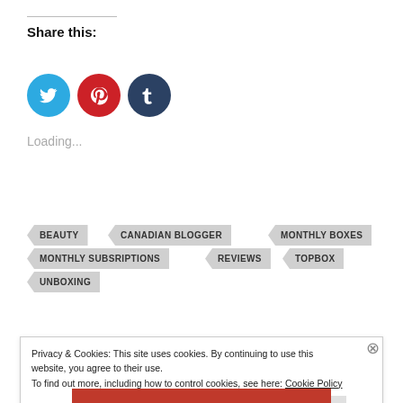Share this:
[Figure (infographic): Three social media share buttons: Twitter (blue circle with bird icon), Pinterest (red circle with P icon), Tumblr (dark blue circle with t icon)]
Loading...
BEAUTY
CANADIAN BLOGGER
MONTHLY BOXES
MONTHLY SUBSRIPTIONS
REVIEWS
TOPBOX
UNBOXING
Privacy & Cookies: This site uses cookies. By continuing to use this website, you agree to their use.
To find out more, including how to control cookies, see here: Cookie Policy
Close and accept